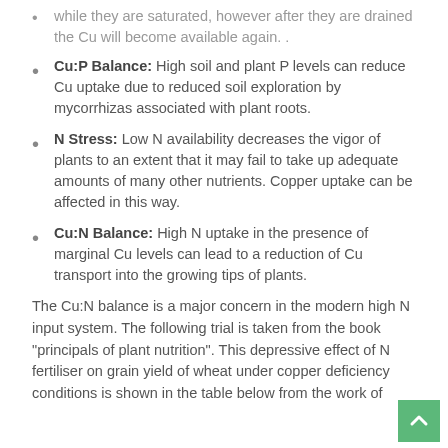Cu:P Balance: High soil and plant P levels can reduce Cu uptake due to reduced soil exploration by mycorrhizas associated with plant roots.
N Stress: Low N availability decreases the vigor of plants to an extent that it may fail to take up adequate amounts of many other nutrients. Copper uptake can be affected in this way.
Cu:N Balance: High N uptake in the presence of marginal Cu levels can lead to a reduction of Cu transport into the growing tips of plants.
The Cu:N balance is a major concern in the modern high N input system. The following trial is taken from the book “principals of plant nutrition”. This depressive effect of N fertiliser on grain yield of wheat under copper deficiency conditions is shown in the table below from the work of